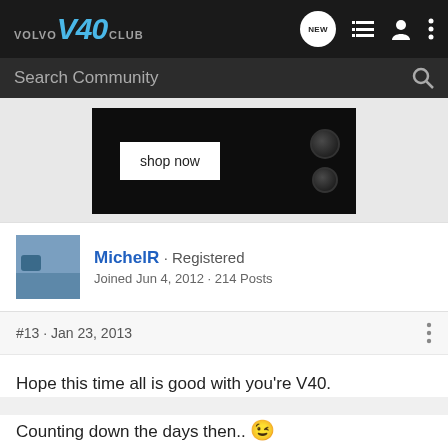VOLVO V40 CLUB — navigation bar with NEW, list, profile, and menu icons
Search Community
[Figure (photo): Dark advertisement banner showing a speaker-like object with a 'shop now' button]
MichelR · Registered
Joined Jun 4, 2012 · 214 Posts
#13 · Jan 23, 2013
Hope this time all is good with you're V40.
Counting down the days then.. 😉